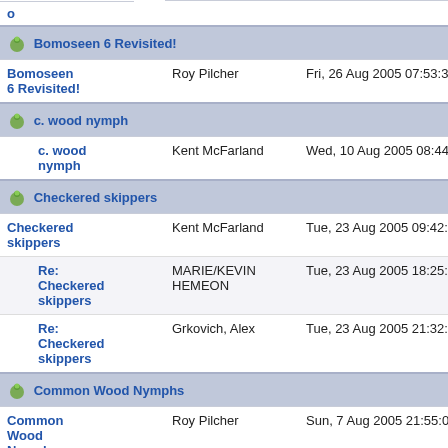| Subject | Author | Date |  |
| --- | --- | --- | --- |
| Bomoseen 6 Revisited! |  |  |  |
| Bomoseen 6 Revisited! | Roy Pilcher | Fri, 26 Aug 2005 07:53:34 EDT | 5 |
| c. wood nymph |  |  |  |
| c. wood nymph | Kent McFarland | Wed, 10 Aug 2005 08:44:10 -0400 | 4 |
| Checkered skippers |  |  |  |
| Checkered skippers | Kent McFarland | Tue, 23 Aug 2005 09:42:45 -0400 | 2 |
| Re: Checkered skippers | MARIE/KEVIN HEMEON | Tue, 23 Aug 2005 18:25:28 -0400 | 10 |
| Re: Checkered skippers | Grkovich, Alex | Tue, 23 Aug 2005 21:32:21 -0400 | 14 |
| Common Wood Nymphs |  |  |  |
| Common Wood Nymphs | Roy Pilcher | Sun, 7 Aug 2005 21:55:04 EDT | 4 |
| Re: Common Wood Nymphs | Grkovich, Alex | Mon, 8 Aug 2005 18:27:39 -0400 | 10 |